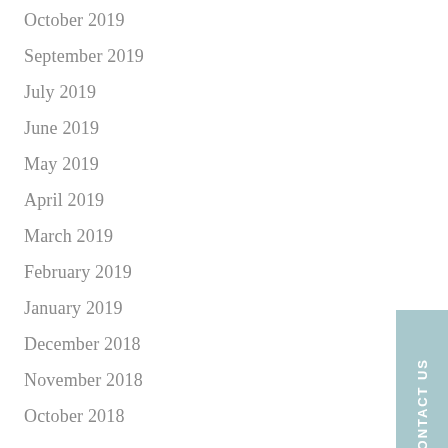October 2019
September 2019
July 2019
June 2019
May 2019
April 2019
March 2019
February 2019
January 2019
December 2018
November 2018
October 2018